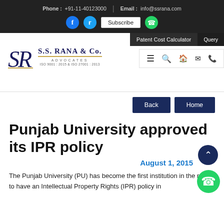Phone: +91-11-40123000 | Email: info@ssrana.com
[Figure (logo): S.S. Rana & Co. Advocates logo with SR monogram, gold underline, ISO 9001:2015 & ISO 27001:2013 certification text]
Punjab University approved its IPR policy
August 1, 2015
The Punjab University (PU) has become the first institution in the region to have an Intellectual Property Rights (IPR) policy in